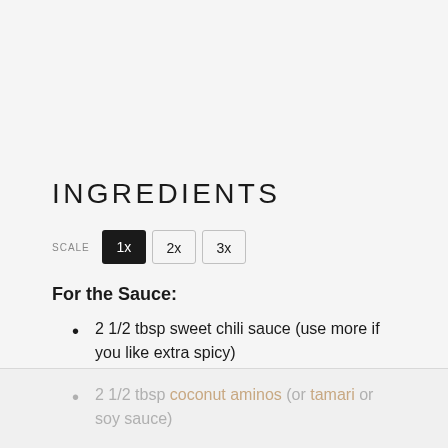INGREDIENTS
SCALE 1x 2x 3x
For the Sauce:
2 1/2 tbsp sweet chili sauce (use more if you like extra spicy)
2 1/2 tbsp coconut aminos (or tamari or soy sauce)